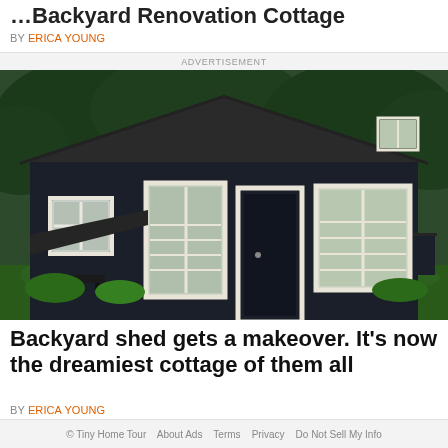…Backyard Renovation Cottage
BY ERICA YOUNG
ADVERTISEMENT
[Figure (photo): A dark navy/black painted wooden shed-style cottage with white window trim and white door frame, surrounded by green trees and landscaping. The building has horizontal siding, multiple white-framed windows, and a peaked roof.]
Backyard shed gets a makeover. It's now the dreamiest cottage of them all
BY ERICA YOUNG
© Tiny Home Tour   About Ads   Terms   Privacy   Do Not Sell My Info